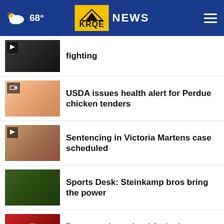68° KRQE NEWS
fighting
USDA issues health alert for Perdue chicken tenders
Sentencing in Victoria Martens case scheduled
Sports Desk: Steinkamp bros bring the power
Dump trucks, school & city buses: What Volkswagen …
Mo
THESHELTERPETPROJECT.ORG